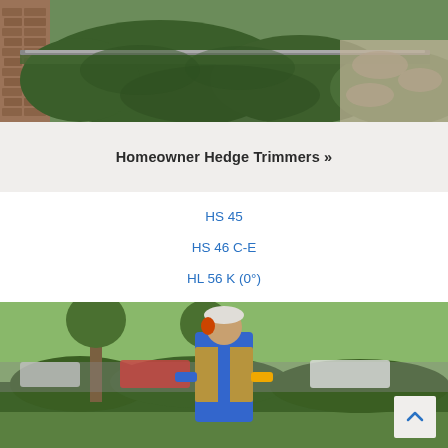[Figure (photo): Person trimming green hedge bushes near a brick house with a hedge trimmer blade visible along the top of the bushes; stone pathway in background]
Homeowner Hedge Trimmers »
HS 45
HS 46 C-E
HL 56 K (0°)
[Figure (photo): Man wearing orange hearing protection, blue shirt, and safety vest using a hedge trimmer on bushes along a sidewalk; suburban street with trees and parked vehicles in background]